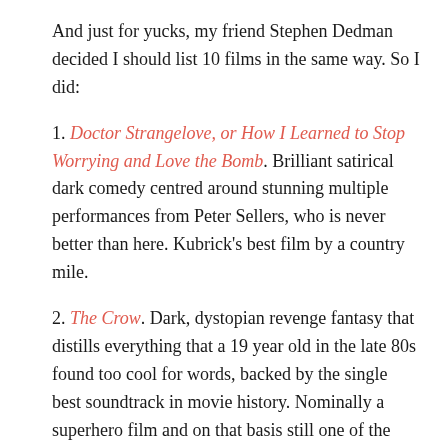And just for yucks, my friend Stephen Dedman decided I should list 10 films in the same way. So I did:
1. Doctor Strangelove, or How I Learned to Stop Worrying and Love the Bomb. Brilliant satirical dark comedy centred around stunning multiple performances from Peter Sellers, who is never better than here. Kubrick's best film by a country mile.
2. The Crow. Dark, dystopian revenge fantasy that distills everything that a 19 year old in the late 80s found too cool for words, backed by the single best soundtrack in movie history. Nominally a superhero film and on that basis still one of the best 3 or 4 superhero films ever made.
3. ET. First saw it on an excursion with my under 13